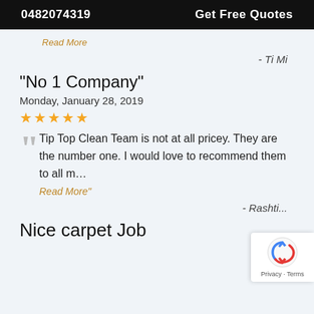0482074319   Get Free Quotes
Read More
- Ti Mi
“No 1 Company”
Monday, January 28, 2019
★★★★★
Tip Top Clean Team is not at all pricey. They are the number one. I would love to recommend them to all m…
Read More”
- Rashti...
Nice carpet Job